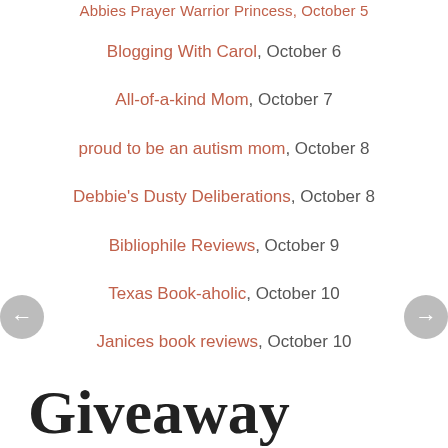Blogging With Carol, October 6
All-of-a-kind Mom, October 7
proud to be an autism mom, October 8
Debbie's Dusty Deliberations, October 8
Bibliophile Reviews, October 9
Texas Book-aholic, October 10
Janices book reviews, October 10
Giveaway